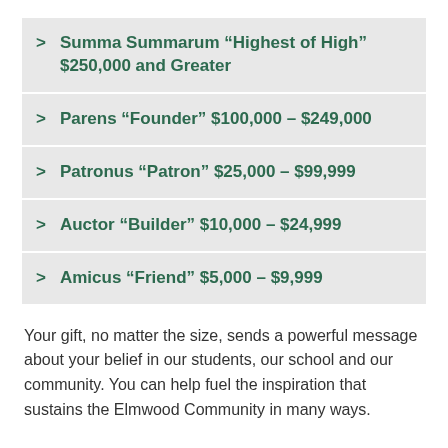Summa Summarum “Highest of High” $250,000 and Greater
Parens “Founder” $100,000 – $249,000
Patronus “Patron” $25,000 – $99,999
Auctor “Builder” $10,000 – $24,999
Amicus “Friend” $5,000 – $9,999
Your gift, no matter the size, sends a powerful message about your belief in our students, our school and our community. You can help fuel the inspiration that sustains the Elmwood Community in many ways.